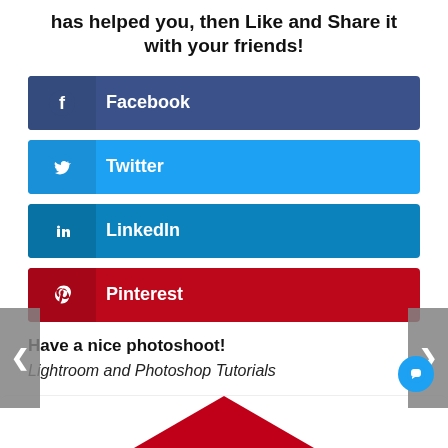has helped you, then Like and Share it with your friends!
[Figure (infographic): Social media share buttons for Facebook, Twitter, LinkedIn, and Pinterest]
Have a nice photoshoot!
Lightroom and Photoshop Tutorials